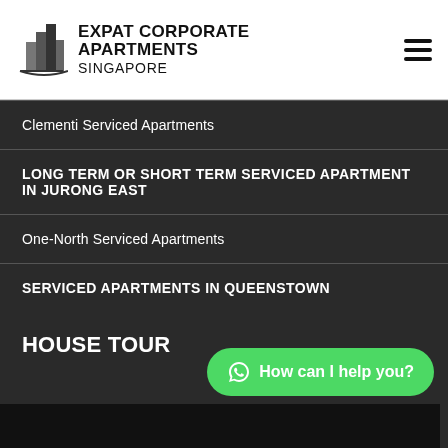[Figure (logo): Expat Corporate Apartments Singapore logo with building icon and company name]
Clementi Serviced Apartments
LONG TERM OR SHORT TERM SERVICED APARTMENT IN JURONG EAST
One-North Serviced Apartments
SERVICED APARTMENTS IN QUEENSTOWN
HOUSE TOUR
[Figure (screenshot): WhatsApp chat button with text 'How can I help you?' and partial dark image at bottom]